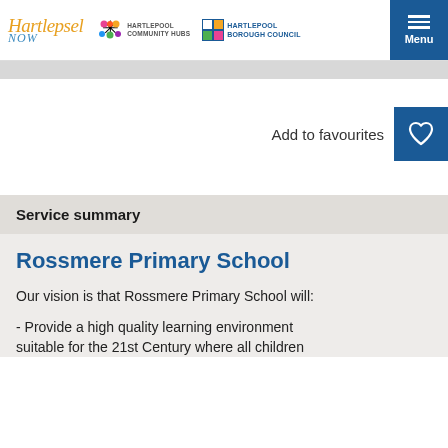Hartlepool Now | Hartlepool Community Hubs | Hartlepool Borough Council | Menu
Add to favourites
Service summary
Rossmere Primary School
Our vision is that Rossmere Primary School will:
- Provide a high quality learning environment suitable for the 21st Century where all children